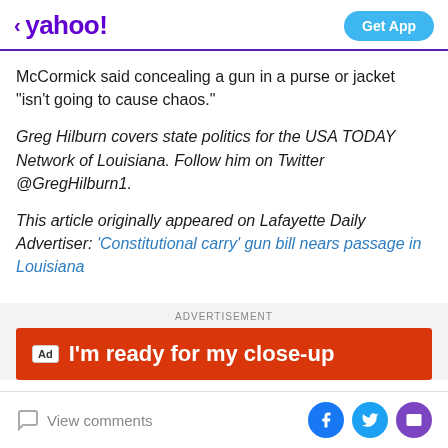< yahoo! | Get App
McCormick said concealing a gun in a purse or jacket "isn't going to cause chaos."
Greg Hilburn covers state politics for the USA TODAY Network of Louisiana. Follow him on Twitter @GregHilburn1.
This article originally appeared on Lafayette Daily Advertiser: 'Constitutional carry' gun bill nears passage in Louisiana
[Figure (screenshot): Advertisement banner with red background text: I'm ready for my close-up]
View comments | Facebook | Twitter | Mail